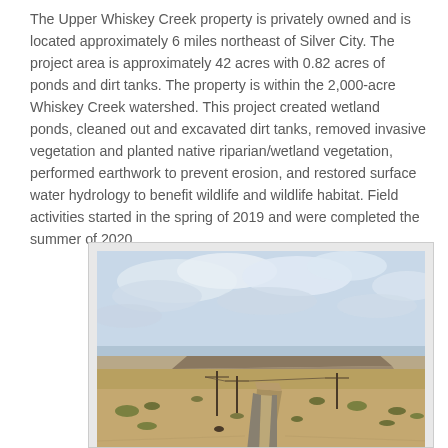The Upper Whiskey Creek property is privately owned and is located approximately 6 miles northeast of Silver City. The project area is approximately 42 acres with 0.82 acres of ponds and dirt tanks. The property is within the 2,000-acre Whiskey Creek watershed. This project created wetland ponds, cleaned out and excavated dirt tanks, removed invasive vegetation and planted native riparian/wetland vegetation, performed earthwork to prevent erosion, and restored surface water hydrology to benefit wildlife and wildlife habitat. Field activities started in the spring of 2019 and were completed the summer of 2020.
[Figure (photo): Landscape photograph of a dry desert area with a winding dirt road or drainage channel, sparse desert scrub vegetation, utility poles, a flat-topped mesa in the background, and a partly cloudy sky.]